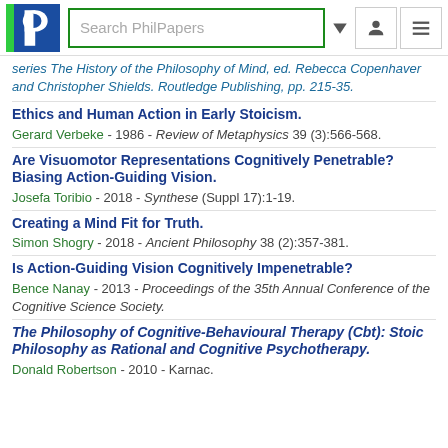PhilPapers search interface navigation bar
series The History of the Philosophy of Mind, ed. Rebecca Copenhaver and Christopher Shields. Routledge Publishing, pp. 215-35.
Ethics and Human Action in Early Stoicism.
Gerard Verbeke - 1986 - Review of Metaphysics 39 (3):566-568.
Are Visuomotor Representations Cognitively Penetrable? Biasing Action-Guiding Vision.
Josefa Toribio - 2018 - Synthese (Suppl 17):1-19.
Creating a Mind Fit for Truth.
Simon Shogry - 2018 - Ancient Philosophy 38 (2):357-381.
Is Action-Guiding Vision Cognitively Impenetrable?
Bence Nanay - 2013 - Proceedings of the 35th Annual Conference of the Cognitive Science Society.
The Philosophy of Cognitive-Behavioural Therapy (Cbt): Stoic Philosophy as Rational and Cognitive Psychotherapy.
Donald Robertson - 2010 - Karnac.